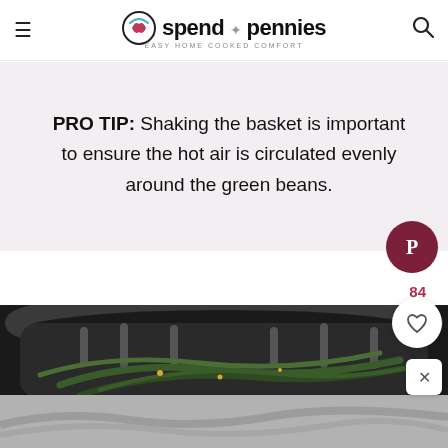spend with pennies — EASY HOME COOKED COMFORT
PRO TIP: Shaking the basket is important to ensure the hot air is circulated evenly around the green beans.
[Figure (photo): Air fryer basket filled with roasted green beans, viewed from above on a white marble surface]
[Figure (photo): Close up of roasted green beans, partially visible at bottom of page]